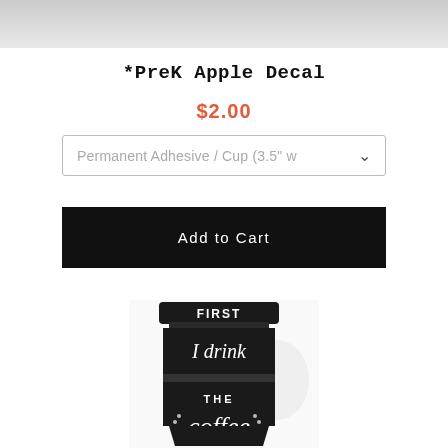[Figure (photo): Top portion of a product image (cropped), showing a light grey/white surface, appearing to be the top of another product photo.]
*PreK Apple Decal
$2.00
Permanent Adhesive / Cup (3.5" w...
Add to Cart
[Figure (photo): Photo of a white garment with a black vinyl decal of a coffee cup that reads 'FIRST I drink THE coffee']